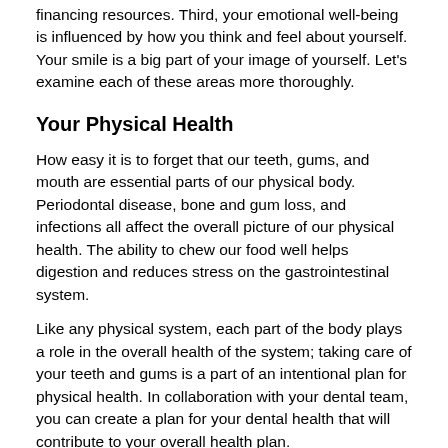financing resources. Third, your emotional well-being is influenced by how you think and feel about yourself. Your smile is a big part of your image of yourself. Let's examine each of these areas more thoroughly.
Your Physical Health
How easy it is to forget that our teeth, gums, and mouth are essential parts of our physical body. Periodontal disease, bone and gum loss, and infections all affect the overall picture of our physical health. The ability to chew our food well helps digestion and reduces stress on the gastrointestinal system.
Like any physical system, each part of the body plays a role in the overall health of the system; taking care of your teeth and gums is a part of an intentional plan for physical health. In collaboration with your dental team, you can create a plan for your dental health that will contribute to your overall health plan.
A Wise Investment
There are two important resources that you use and allocate in your everyday life: your time and your money. When it comes to your dental care, they are closely related. The time you take